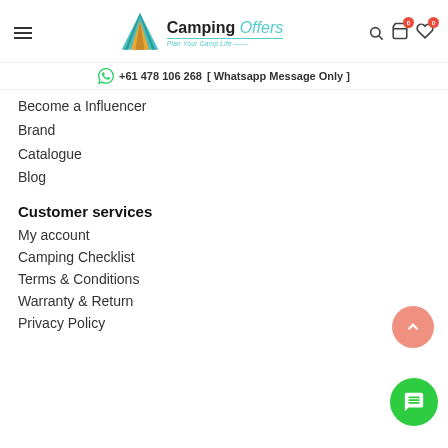Camping Offers — Plan Your Camp Life
+61 478 106 268 [ Whatsapp Message Only ]
Become a Influencer
Brand
Catalogue
Blog
Customer services
My account
Camping Checklist
Terms & Conditions
Warranty & Return
Privacy Policy